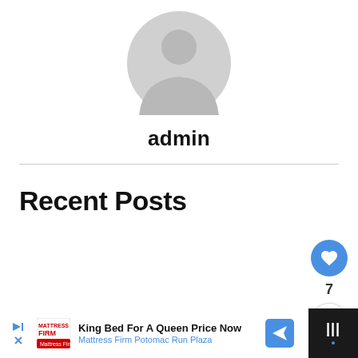[Figure (illustration): Generic grey user avatar/profile placeholder icon on white background]
admin
Recent Posts
[Figure (infographic): Floating action buttons on right side: blue heart/like button, number 7, and white share button]
[Figure (screenshot): Advertisement bar at bottom: Mattress Firm ad - King Bed For A Queen Price Now, Mattress Firm Potomac Run Plaza, with navigation icon and mute button]